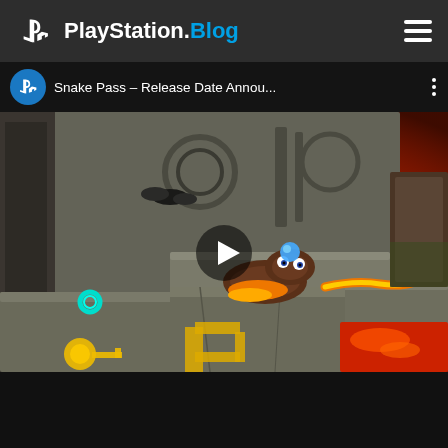PlayStation.Blog
[Figure (screenshot): YouTube embedded video player showing Snake Pass – Release Date Annou... with a PlayStation channel icon, three-dot menu, game screenshot showing a colorful snake character on stone temple platforms with lava, and a play button overlay. The video bar is dark/black and the bottom area is black.]